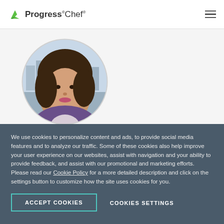Progress Chef
[Figure (photo): Circular profile photo of Natalie Fisher, a woman with curly dark hair, outdoors with a city skyline in the background]
Natalie Fisher
We use cookies to personalize content and ads, to provide social media features and to analyze our traffic. Some of these cookies also help improve your user experience on our websites, assist with navigation and your ability to provide feedback, and assist with our promotional and marketing efforts. Please read our Cookie Policy for a more detailed description and click on the settings button to customize how the site uses cookies for you.
ACCEPT COOKIES
COOKIES SETTINGS